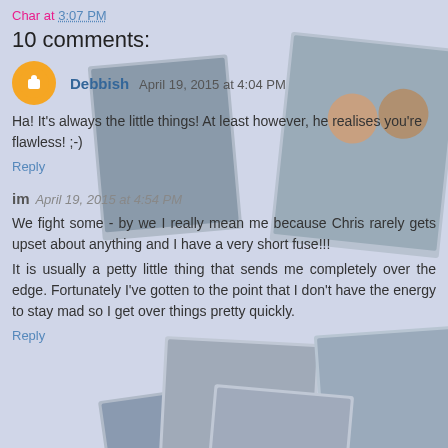Char at 3:07 PM
10 comments:
[Figure (photo): Background photo collage of running/fitness photos arranged as polaroid-style overlapping photos on a light blue-grey background]
Debbish April 19, 2015 at 4:04 PM
Ha! It's always the little things! At least however, he realises you're flawless! ;-)
Reply
im April 19, 2015 at 4:54 PM
We fight some - by we I really mean me because Chris rarely gets upset about anything and I have a very short fuse!!!
It is usually a petty little thing that sends me completely over the edge. Fortunately I've gotten to the point that I don't have the energy to stay mad so I get over things pretty quickly.
Reply